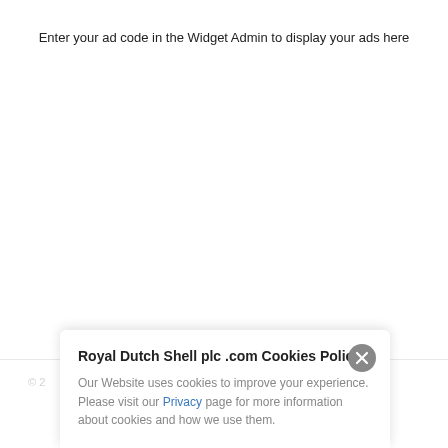Enter your ad code in the Widget Admin to display your ads here
© 2
Royal Dutch Shell plc .com Cookies Policy
Our Website uses cookies to improve your experience. Please visit our Privacy page for more information about cookies and how we use them.